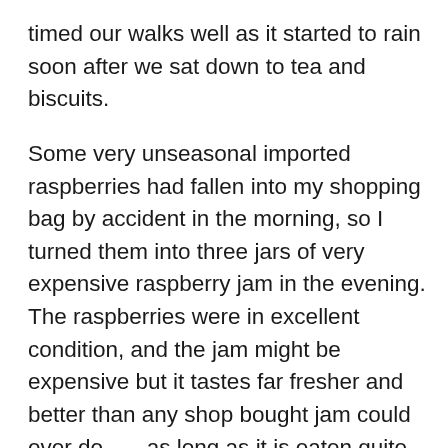timed our walks well as it started to rain soon after we sat down to tea and biscuits.
Some very unseasonal imported raspberries had fallen into my shopping bag by accident in the morning, so I turned them into three jars of very expensive raspberry jam in the evening. The raspberries were in excellent condition, and the jam might be expensive but it tastes far fresher and better than any shop bought jam could ever do . . . as long as it is eaten quite soon after it is made. That will not be a problem.